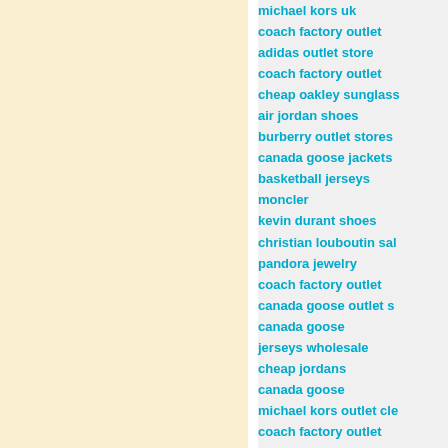michael kors uk
coach factory outlet
adidas outlet store
coach factory outlet
cheap oakley sunglass
air jordan shoes
burberry outlet stores
canada goose jackets
basketball jerseys
moncler
kevin durant shoes
christian louboutin sal
pandora jewelry
coach factory outlet
canada goose outlet s
canada goose
jerseys wholesale
cheap jordans
canada goose
michael kors outlet cle
coach factory outlet
air jordan shoes
canada goose outlet s
coach outlet online
swarovski crystal
gentle monster sungla
jordan shoes